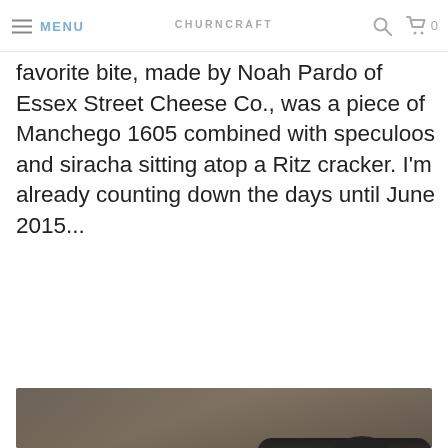MENU | CHURNCRAFT | 0
favorite bite, made by Noah Pardo of Essex Street Cheese Co., was a piece of Manchego 1605 combined with speculoos and siracha sitting atop a Ritz cracker. I'm already counting down the days until June 2015...
[Figure (photo): Two people at an event; one person in a white tank top holding a microphone, another person dressed in a black-and-white cow costume holding a microphone and pointing, with a crowd in the background.]